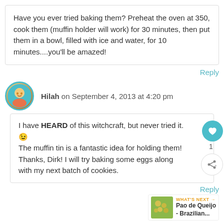Have you ever tried baking them? Preheat the oven at 350, cook them (muffin holder will work) for 30 minutes, then put them in a bowl, filled with ice and water, for 10 minutes....you'll be amazed!
Reply
Hilah on September 4, 2013 at 4:20 pm
I have HEARD of this witchcraft, but never tried it. 😉 The muffin tin is a fantastic idea for holding them! Thanks, Dirk! I will try baking some eggs along with my next batch of cookies.
Reply
WHAT'S NEXT → Pao de Queijo - Brazilian...
Dirk on September 4, 2013 at 4:24 pm